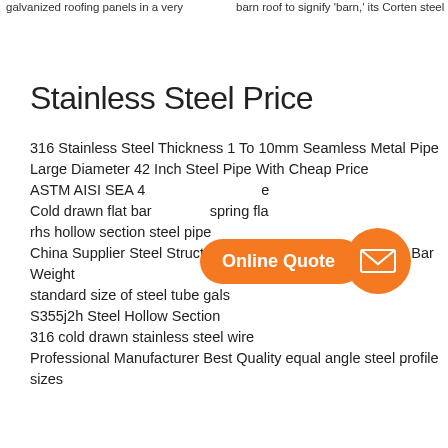galvanized roofing panels in a very
barn roof to signify 'barn,' its Corten steel
Stainless Steel Price
316 Stainless Steel Thickness 1 To 10mm Seamless Metal Pipe
Large Diameter 42 Inch Steel Pipe With Cheap Price
ASTM AISI SEA 4...
Cold drawn flat bar... spring fla...
rhs hollow section steel pipe
China Supplier Steel Structure Deformed Reinforcing Steel Bar Weight
standard size of steel tube gals
S355j2h Steel Hollow Section
316 cold drawn stainless steel wire
Professional Manufacturer Best Quality equal angle steel profile sizes